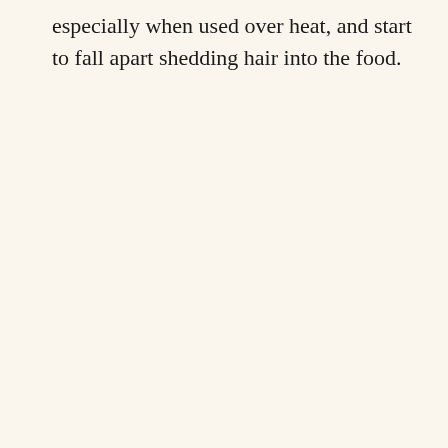especially when used over heat, and start to fall apart shedding hair into the food.